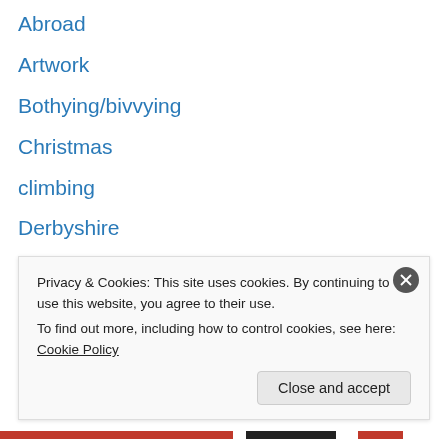Abroad
Artwork
Bothying/bivvying
Christmas
climbing
Derbyshire
English mountain cowardice
Health
Hebridean Walking
Hill Yearly Stats
Humour
Isle of Man
Munro Tops
North York Moors
Privacy & Cookies: This site uses cookies. By continuing to use this website, you agree to their use. To find out more, including how to control cookies, see here: Cookie Policy